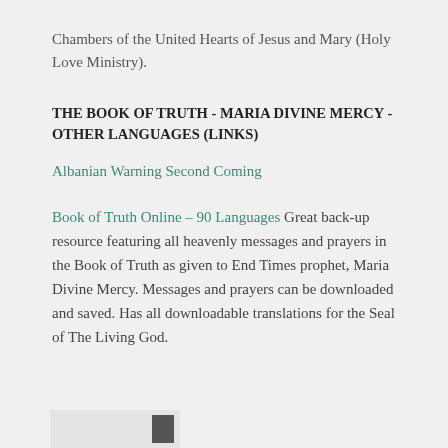Chambers of the United Hearts of Jesus and Mary (Holy Love Ministry).
THE BOOK OF TRUTH - MARIA DIVINE MERCY - OTHER LANGUAGES (LINKS)
Albanian Warning Second Coming
Book of Truth Online – 90 Languages Great back-up resource featuring all heavenly messages and prayers in the Book of Truth as given to End Times prophet, Maria Divine Mercy. Messages and prayers can be downloaded and saved. Has all downloadable translations for the Seal of The Living God.
[Figure (photo): Partial thumbnail image at bottom left of page]